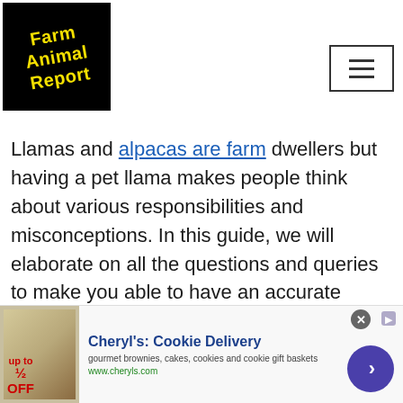[Figure (logo): Farm Animal Report logo: black background with yellow bold italic text reading 'Farm Animal Report' at a slight angle]
[Figure (other): Hamburger menu button: rectangle with border containing three horizontal lines]
Llamas and alpacas are farm dwellers but having a pet llama makes people think about various responsibilities and misconceptions. In this guide, we will elaborate on all the questions and queries to make you able to have an accurate picture of owning a llama as a pet. These are compassionate animals and will add wonders to your life by their presence.
[Figure (other): Advertisement banner for Cheryl's Cookie Delivery showing gourmet brownies image, text 'Cheryl's: Cookie Delivery', 'gourmet brownies, cakes, cookies and cookie gift baskets', 'www.cheryls.com', with a purple circle arrow CTA button]